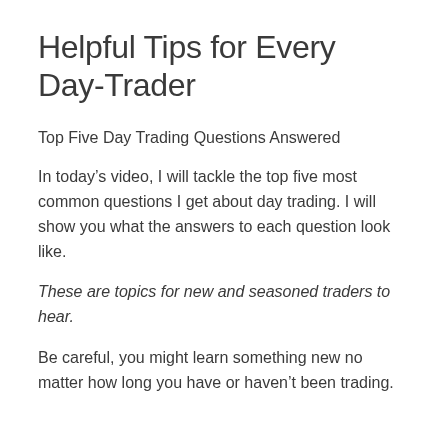Helpful Tips for Every Day-Trader
Top Five Day Trading Questions Answered
In today’s video, I will tackle the top five most common questions I get about day trading. I will show you what the answers to each question look like.
These are topics for new and seasoned traders to hear.
Be careful, you might learn something new no matter how long you have or haven’t been trading.